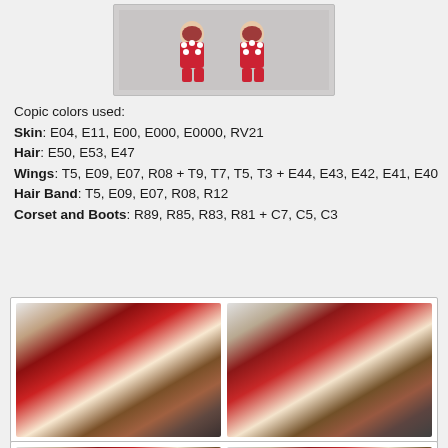[Figure (photo): Two small illustrated doll figures wearing red and white outfits with polka dots, against a light background]
Copic colors used:
Skin: E04, E11, E00, E000, E0000, RV21
Hair: E50, E53, E47
Wings: T5, E09, E07, R08 + T9, T7, T5, T3 + E44, E43, E42, E41, E40
Hair Band: T5, E09, E07, R08, R12
Corset and Boots: R89, R85, R83, R81 + C7, C5, C3
[Figure (photo): Close-up photo of a decorative craft card featuring a ladybug-themed character with red flowers, ribbons, pearls, and ornate embellishments (left)]
[Figure (photo): Close-up photo of a decorative craft card featuring a ladybug-themed character with red berries, pearls, and ornate embellishments (right)]
[Figure (photo): Partial photo of craft card bottom-left, cut off at page bottom]
[Figure (photo): Partial photo of craft card bottom-right, cut off at page bottom]